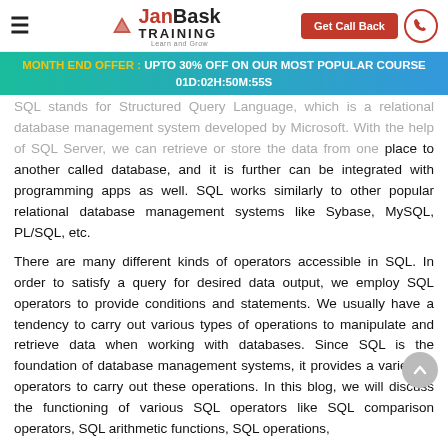JanBask TRAINING — Learn and Grow | Get Call Back
MONTH END OFFER : UPTO 30% OFF ON OUR MOST POPULAR COURSE 01D:02H:50M:55S
SQL stands for Structured Query Language, which is a relational database management system developed by Microsoft. With the help of SQL Server, we can retrieve or store the data from one place to another called database, and it is further can be integrated with programming apps as well. SQL works similarly to other popular relational database management systems like Sybase, MySQL, PL/SQL, etc.
There are many different kinds of operators accessible in SQL. In order to satisfy a query for desired data output, we employ SQL operators to provide conditions and statements. We usually have a tendency to carry out various types of operations to manipulate and retrieve data when working with databases. Since SQL is the foundation of database management systems, it provides a variety of operators to carry out these operations. In this blog, we will discuss the functioning of various SQL operators like SQL comparison operators, SQL arithmetic functions, SQL operations,